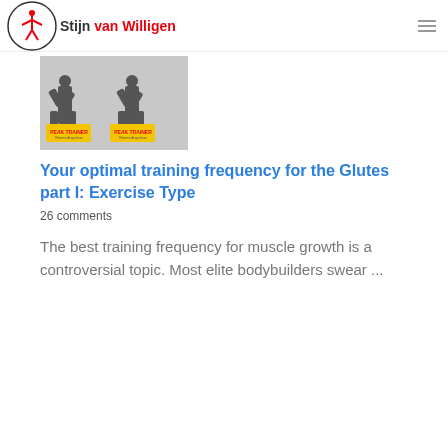Stijn van Willigen
[Figure (photo): Article thumbnail showing silhouettes of people doing squats/exercise, with Peak Texture fitness branding logo visible twice]
Your optimal training frequency for the Glutes part I: Exercise Type
26 comments
The best training frequency for muscle growth is a controversial topic. Most elite bodybuilders swear ...